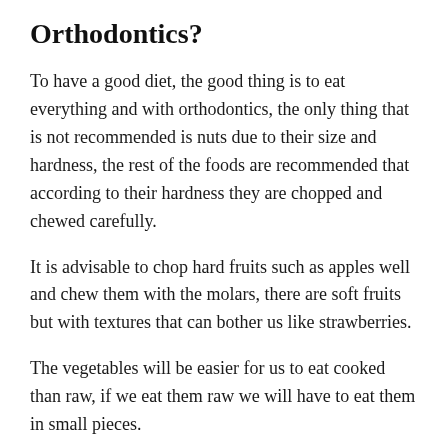Orthodontics?
To have a good diet, the good thing is to eat everything and with orthodontics, the only thing that is not recommended is nuts due to their size and hardness, the rest of the foods are recommended that according to their hardness they are chopped and chewed carefully.
It is advisable to chop hard fruits such as apples well and chew them with the molars, there are soft fruits but with textures that can bother us like strawberries.
The vegetables will be easier for us to eat cooked than raw, if we eat them raw we will have to eat them in small pieces.